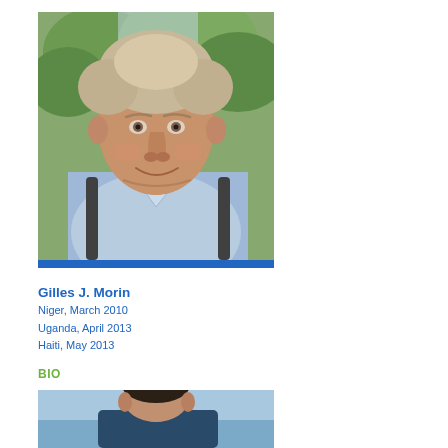[Figure (photo): Portrait photo of Gilles J. Morin, an older man with gray-blond hair wearing a light blue shirt and backpack, outdoor background with green foliage]
Gilles J. Morin
Niger, March 2010
Uganda, April 2013
Haiti, May 2013
BIO
[Figure (photo): Partial portrait photo of a second person, cropped at bottom of page]